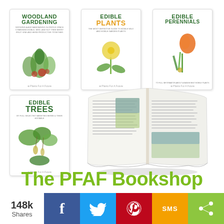[Figure (illustration): Four book covers (Woodland Gardening, Edible Plants, Edible Perennials, Edible Trees) and an open magazine/book, displayed as a product showcase for the PFAF Bookshop.]
The PFAF Bookshop
148k Shares
[Figure (infographic): Social sharing bar with Facebook, Twitter, Pinterest, SMS, and generic share buttons.]